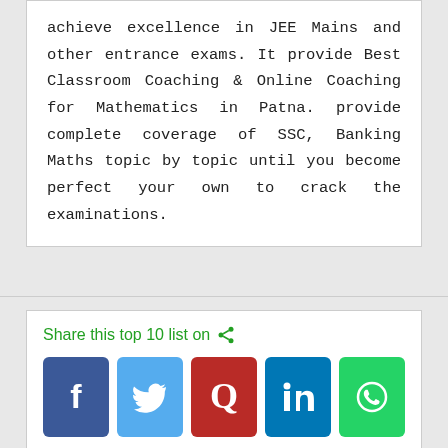achieve excellence in JEE Mains and other entrance exams. It provide Best Classroom Coaching & Online Coaching for Mathematics in Patna. provide complete coverage of SSC, Banking Maths topic by topic until you become perfect your own to crack the examinations.
Share this top 10 list on
[Figure (infographic): Social media share buttons: Facebook, Twitter, Quora, LinkedIn, WhatsApp]